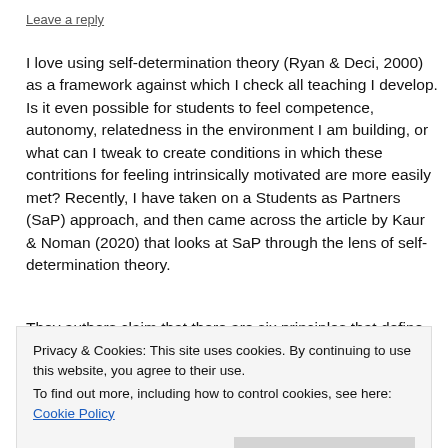Leave a reply
I love using self-determination theory (Ryan & Deci, 2000) as a framework against which I check all teaching I develop. Is it even possible for students to feel competence, autonomy, relatedness in the environment I am building, or what can I tweak to create conditions in which these contritions for feeling intrinsically motivated are more easily met? Recently, I have taken on a Students as Partners (SaP) approach, and then came across the article by Kaur & Noman (2020) that looks at SaP through the lens of self-determination theory.
They authors claim that there are six principles that define the environment which is inviting and without anxiety, and
Privacy & Cookies: This site uses cookies. By continuing to use this website, you agree to their use.
To find out more, including how to control cookies, see here: Cookie Policy